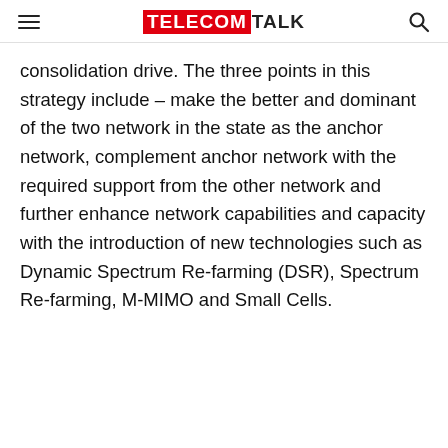TELECOMTALK
consolidation drive. The three points in this strategy include – make the better and dominant of the two network in the state as the anchor network, complement anchor network with the required support from the other network and further enhance network capabilities and capacity with the introduction of new technologies such as Dynamic Spectrum Re-farming (DSR), Spectrum Re-farming, M-MIMO and Small Cells.